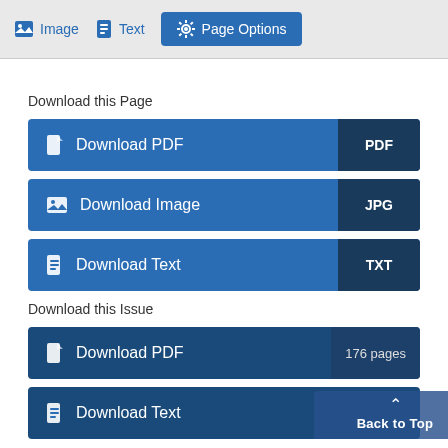Image   Text   Page Options
Download this Page
Download PDF  PDF
Download Image  JPG
Download Text  TXT
Download this Issue
Download PDF  176 pages
Download Text
Back to Top